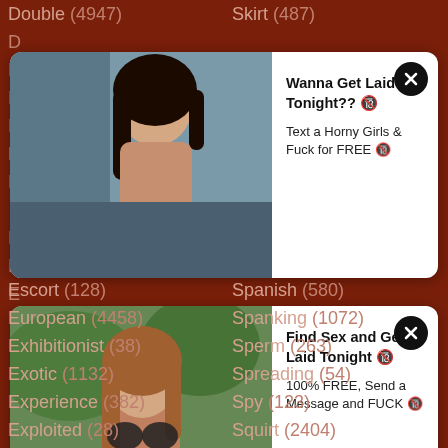Double (4947)
Skirt (487)
Drinking (33)
Strain (3634)
[Figure (photo): Advertisement card 1 with photo of woman and text: Wanna Get Laid Tonight?? Text a Horny Girls & Fuck for FREE]
Wanna Get Laid Tonight??
Text a Horny Girls & Fuck for FREE
[Figure (photo): Advertisement card 2 with photo of woman and text: Find Sex and Get Laid Tonight 100% FREE, Send a Message and FUCK]
Find Sex and Get Laid Tonight
100% FREE, Send a Message and FUCK
Escort (128)
Spanish (580)
European (4458)
Spanking (1072)
Exhibitionist (38)
Sperm (263)
Exotic (1132)
Spreading (54)
Experience (382)
Spy (123)
Exploited (28)
Squirt (2404)
Extreme (697)
Stepmom (1663)
Eyes (125)
Stockings (14499)